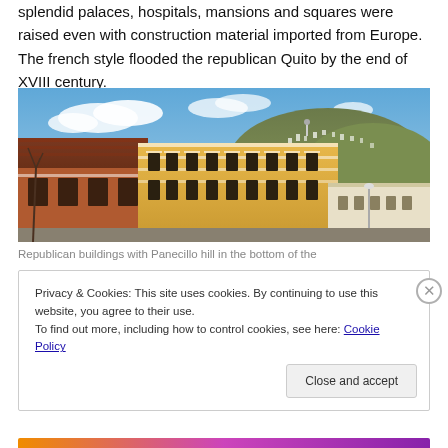splendid palaces, hospitals, mansions and squares were raised even with construction material imported from Europe. The french style flooded the republican Quito by the end of XVIII century.
[Figure (photo): Photograph of Republican-era buildings in Quito with Panecillo hill visible in the background, featuring orange/yellow colonial facades under a partly cloudy blue sky.]
Republican buildings with Panecillo hill in the bottom of the
Privacy & Cookies: This site uses cookies. By continuing to use this website, you agree to their use.
To find out more, including how to control cookies, see here: Cookie Policy